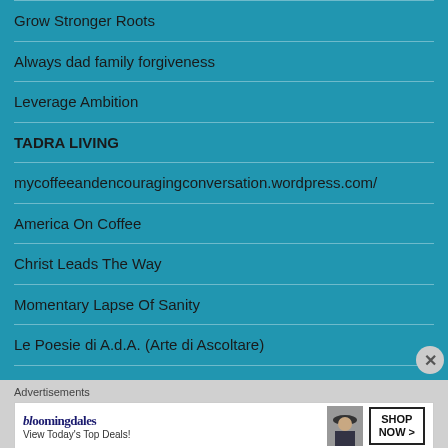Grow Stronger Roots
Always dad family forgiveness
Leverage Ambition
TADRA LIVING
mycoffeeandencouragingconversation.wordpress.com/
America On Coffee
Christ Leads The Way
Momentary Lapse Of Sanity
Le Poesie di A.d.A. (Arte di Ascoltare)
audacious momma
Advertisements
[Figure (other): Bloomingdale's advertisement banner: logo, 'View Today's Top Deals!', photo of woman with hat, 'SHOP NOW >' button]